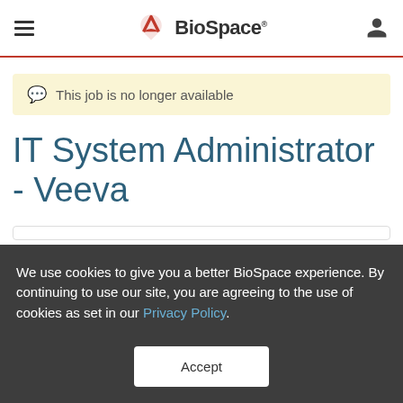BioSpace
This job is no longer available
IT System Administrator - Veeva
We use cookies to give you a better BioSpace experience. By continuing to use our site, you are agreeing to the use of cookies as set in our Privacy Policy.